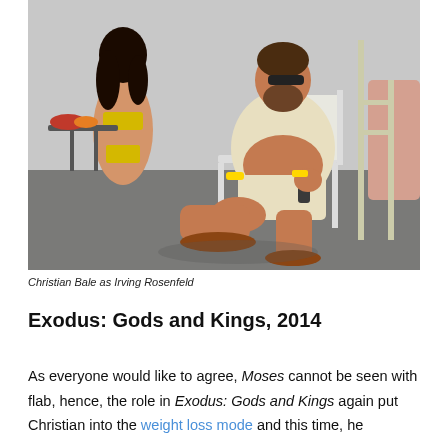[Figure (photo): Christian Bale as Irving Rosenfeld, sitting in a chair outdoors near a pool, wearing a cream knit shirt and shorts with sandals, holding a remote control. A woman in a bikini sits at a table in the background on the left, and another figure stands on the right.]
Christian Bale as Irving Rosenfeld
Exodus: Gods and Kings, 2014
As everyone would like to agree, Moses cannot be seen with flab, hence, the role in Exodus: Gods and Kings again put Christian into the weight loss mode and this time, he